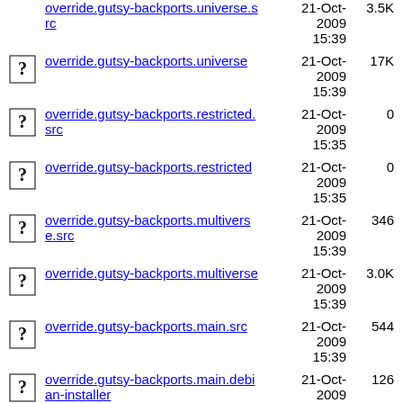override.gutsy-backports.universe.src  21-Oct-2009 15:39  3.5K
override.gutsy-backports.universe  21-Oct-2009 15:39  17K
override.gutsy-backports.restricted.src  21-Oct-2009 15:35  0
override.gutsy-backports.restricted  21-Oct-2009 15:35  0
override.gutsy-backports.multiverse.src  21-Oct-2009 15:39  346
override.gutsy-backports.multiverse  21-Oct-2009 15:39  3.0K
override.gutsy-backports.main.src  21-Oct-2009 15:39  544
override.gutsy-backports.main.debian-installer  21-Oct-2009 15:39  126